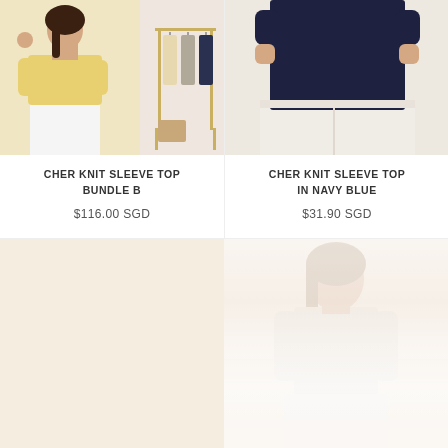[Figure (photo): Product photo of a woman wearing a yellow knit sleeve top with white pants, beside a clothing rack with multiple tops in beige, grey, and navy]
CHER KNIT SLEEVE TOP BUNDLE B
$116.00 SGD
[Figure (photo): Product photo of a woman wearing a navy blue knit sleeve top with light cream wide-leg pants, cropped at chest level]
CHER KNIT SLEEVE TOP IN NAVY BLUE
$31.90 SGD
[Figure (photo): Partial product image at bottom right showing a woman in a light-colored top, very faded/washed out appearance]